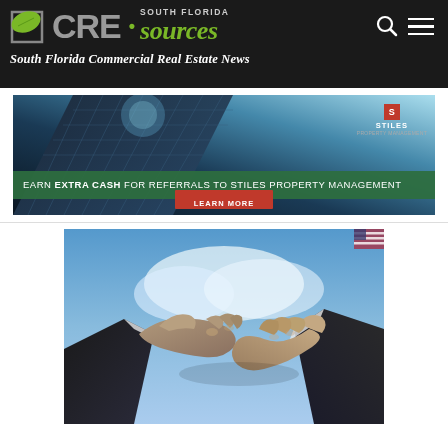CRE South Florida sources — South Florida Commercial Real Estate News
[Figure (photo): Advertisement banner: glass skyscraper building with grid windows viewed from below at angle, with Stiles logo in top right corner, green bar reading 'EARN EXTRA CASH FOR REFERRALS TO STILES PROPERTY MANAGEMENT' and red LEARN MORE button]
[Figure (photo): Close-up photograph of two businesspeople in suits shaking hands, with blue sky and city buildings in the background]